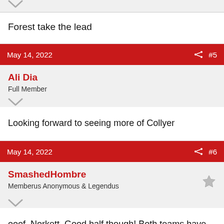Forest take the lead
May 14, 2022  #5
Ali Dia
Full Member
Looking forward to seeing more of Collyer
May 14, 2022  #6
SmashedHombre
Memberus Anonymous & Legendus
ooof, Norkett. Good half though! Both teams have created